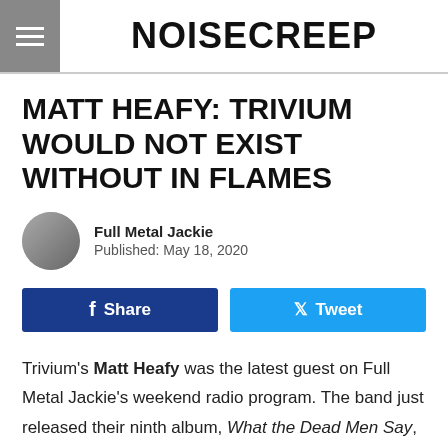NOISECREEP
MATT HEAFY: TRIVIUM WOULD NOT EXIST WITHOUT IN FLAMES
Full Metal Jackie
Published: May 18, 2020
Trivium's Matt Heafy was the latest guest on Full Metal Jackie's weekend radio program. The band just released their ninth album, What the Dead Men Say, which the frontman said he gave no consideration to delaying due to the coronavirus pandemic.